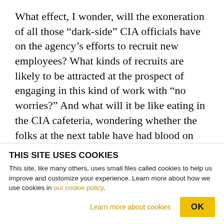What effect, I wonder, will the exoneration of all those “dark-side” CIA officials have on the agency’s efforts to recruit new employees? What kinds of recruits are likely to be attracted at the prospect of engaging in this kind of work with “no worries?” And what will it be like eating in the CIA cafeteria, wondering whether the folks at the next table have had blood on their hands.
What kind of chilling effect will Holder’s announcement have on CIA and military employees
THIS SITE USES COOKIES
This site, like many others, uses small files called cookies to help us improve and customize your experience. Learn more about how we use cookies in our cookie policy.
Learn more about cookies   OK